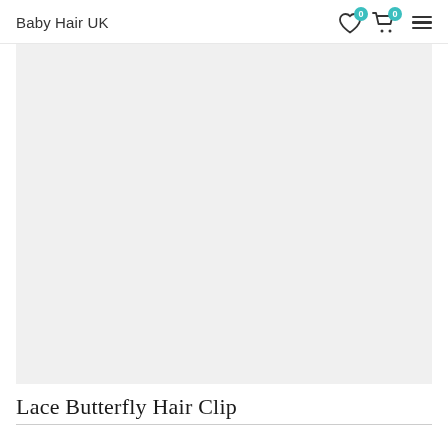Baby Hair UK
[Figure (photo): Large light grey product image placeholder area for Lace Butterfly Hair Clip]
Lace Butterfly Hair Clip